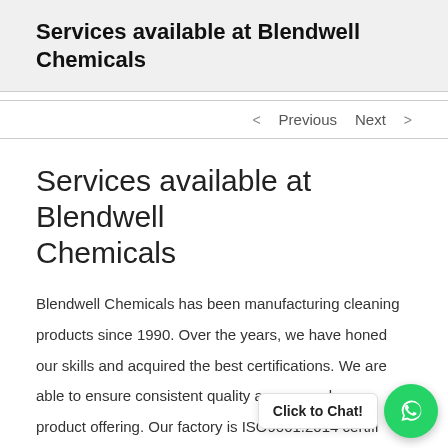Services available at Blendwell Chemicals
< Previous   Next >
Services available at Blendwell Chemicals
Blendwell Chemicals has been manufacturing cleaning products since 1990. Over the years, we have honed our skills and acquired the best certifications. We are able to ensure consistent quality across our large product offering. Our factory is ISO9001:2014 certifi…
[Figure (other): WhatsApp Click to Chat floating button widget in bottom-right corner]